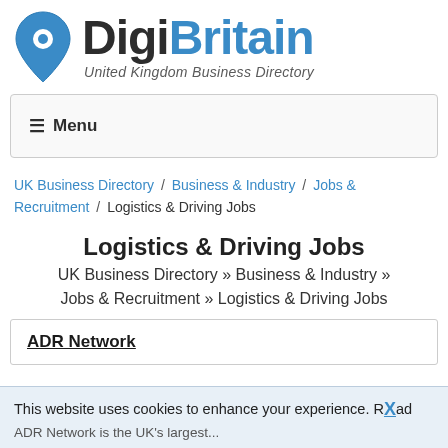[Figure (logo): DigiBritain logo with location pin icon, text 'DigiBritain' and subtitle 'United Kingdom Business Directory']
Menu
UK Business Directory / Business & Industry / Jobs & Recruitment / Logistics & Driving Jobs
Logistics & Driving Jobs
UK Business Directory » Business & Industry » Jobs & Recruitment » Logistics & Driving Jobs
ADR Network
This website uses cookies to enhance your experience. Read ADR Network is the UK's largest...